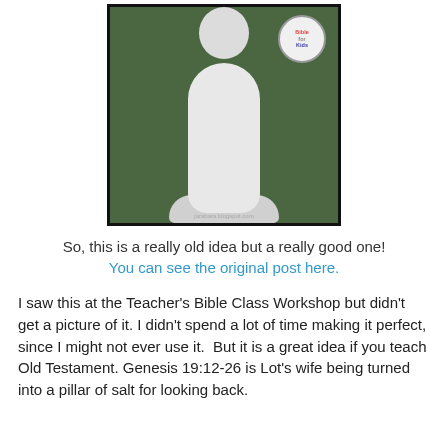[Figure (photo): A white salt pillar sculpture (representing Lot's wife) made from clay or plaster, set against a dark green background. A circular 'Bible for Kids' logo is visible in the upper right corner of the photo.]
So, this is a really old idea but a really good one!
You can see the original post here.
I saw this at the Teacher's Bible Class Workshop but didn't get a picture of it. I didn't spend a lot of time making it perfect, since I might not ever use it.  But it is a great idea if you teach Old Testament. Genesis 19:12-26 is Lot's wife being turned into a pillar of salt for looking back.